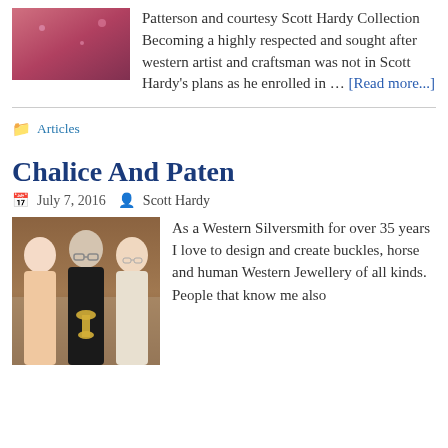[Figure (photo): Partial photo of a person, cropped at top, pink/magenta background]
Patterson and courtesy Scott Hardy Collection Becoming a highly respected and sought after western artist and craftsman was not in Scott Hardy's plans as he enrolled in … [Read more...]
Articles
Chalice And Paten
July 7, 2016  Scott Hardy
[Figure (photo): Photo of three men standing together indoors, wood-paneled background]
As a Western Silversmith for over 35 years I love to design and create buckles, horse and human Western Jewellery of all kinds. People that know me also